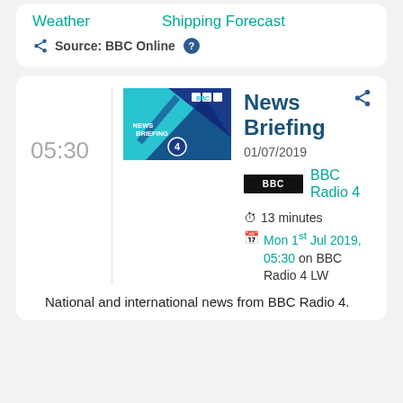Weather    Shipping Forecast
Source: BBC Online ?
05:30
[Figure (illustration): News Briefing podcast thumbnail — blue geometric design with BBC logo and text NEWS BRIEFING and Radio 4 circle logo]
News Briefing
01/07/2019
[Figure (logo): BBC logo black rectangle with white BBC text]
BBC Radio 4
13 minutes
Mon 1st Jul 2019, 05:30 on BBC Radio 4 LW
National and international news from BBC Radio 4.